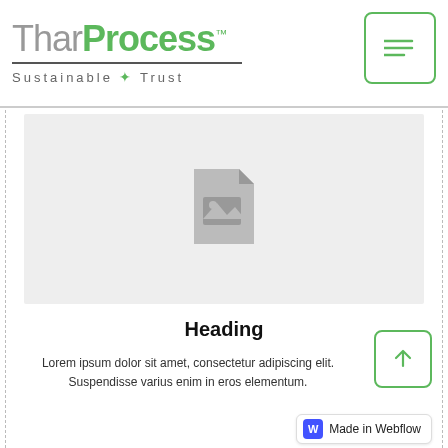[Figure (logo): TharProcess logo with 'Sustainable + Trust' tagline and green menu button]
[Figure (illustration): Grey rectangular image placeholder with a document/image icon in the center]
Heading
Lorem ipsum dolor sit amet, consectetur adipiscing elit. Suspendisse varius enim in eros elementum.